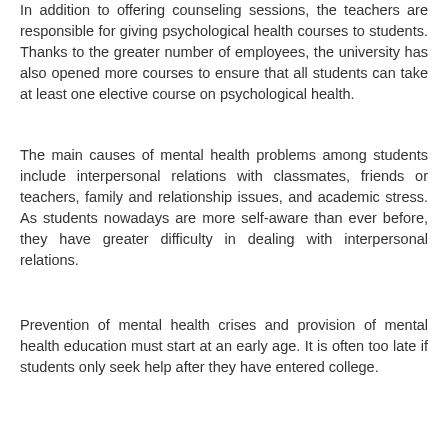In addition to offering counseling sessions, the teachers are responsible for giving psychological health courses to students. Thanks to the greater number of employees, the university has also opened more courses to ensure that all students can take at least one elective course on psychological health.
The main causes of mental health problems among students include interpersonal relations with classmates, friends or teachers, family and relationship issues, and academic stress. As students nowadays are more self-aware than ever before, they have greater difficulty in dealing with interpersonal relations.
Prevention of mental health crises and provision of mental health education must start at an early age. It is often too late if students only seek help after they have entered college.